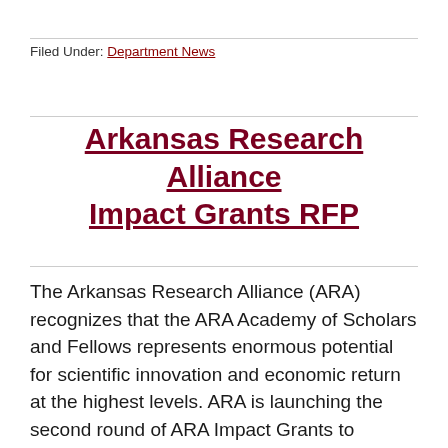Filed Under: Department News
Arkansas Research Alliance Impact Grants RFP
The Arkansas Research Alliance (ARA) recognizes that the ARA Academy of Scholars and Fellows represents enormous potential for scientific innovation and economic return at the highest levels. ARA is launching the second round of ARA Impact Grants to identify 12-month projects that support the Academy with